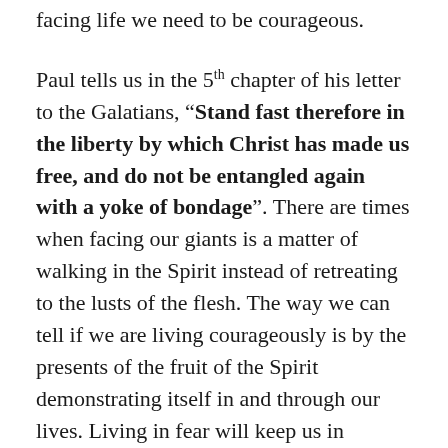facing life we need to be courageous.
Paul tells us in the 5th chapter of his letter to the Galatians, “Stand fast therefore in the liberty by which Christ has made us free, and do not be entangled again with a yoke of bondage”. There are times when facing our giants is a matter of walking in the Spirit instead of retreating to the lusts of the flesh. The way we can tell if we are living courageously is by the presents of the fruit of the Spirit demonstrating itself in and through our lives. Living in fear will keep us in bondage and we